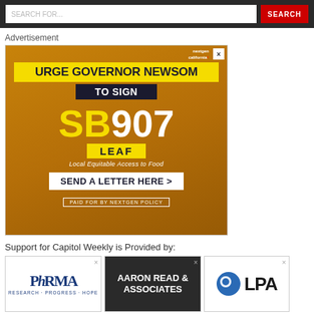[Figure (screenshot): Dark gray top navigation bar with a search input field and a red SEARCH button]
Advertisement
[Figure (illustration): Advertisement for NextGen California urging people to urge Governor Newsom to sign SB 907 LEAF (Local Equitable Access to Food). Features yellow headline boxes, large SB907 text, a SEND A LETTER HERE button, and 'PAID FOR BY NEXTGEN POLICY' at the bottom. Background shows two people in golden tones.]
Support for Capitol Weekly is Provided by:
[Figure (logo): PhRMA logo with text RESEARCH · PROGRESS · HOPE]
[Figure (illustration): Aaron Read & Associates advertisement with dark background and building image]
[Figure (logo): LPA logo with blue circular icon and LPA text]